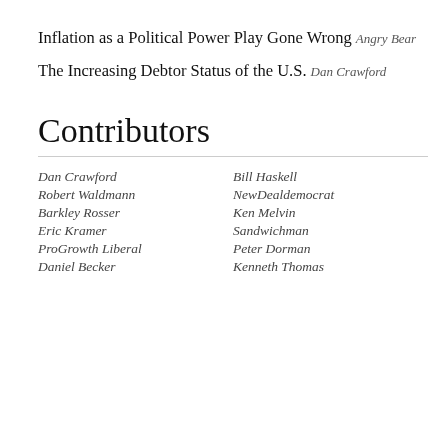Inflation as a Political Power Play Gone Wrong
Angry Bear
The Increasing Debtor Status of the U.S.
Dan Crawford
Contributors
Dan Crawford
Bill Haskell
Robert Waldmann
NewDealdemocrat
Barkley Rosser
Ken Melvin
Eric Kramer
Sandwichman
ProGrowth Liberal
Peter Dorman
Daniel Becker
Kenneth Thomas